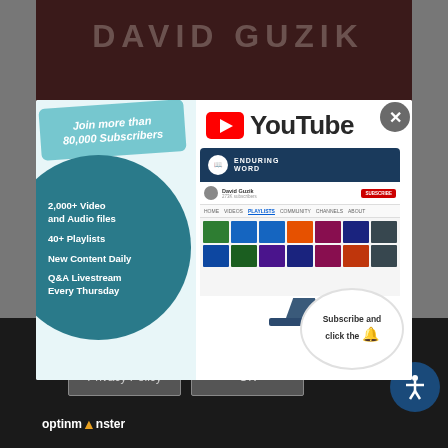[Figure (screenshot): David Guzik YouTube channel promotion popup over a dark website background. The popup features a YouTube logo, a monitor showing the Enduring Word channel, bullet points listing channel features (2,000+ Video and Audio files, 40+ Playlists, New Content Daily, Q&A Livestream Every Thursday), and a call to action to subscribe and click the bell. A teal badge reads 'Join more than 80,000 Subscribers'. Below the popup is a cookie consent bar with Privacy Policy and OK buttons, the OptinMonster logo, and an accessibility icon.]
DAVID GUZIK
Join more than 80,000 Subscribers
2,000+ Video and Audio files
40+ Playlists
New Content Daily
Q&A Livestream Every Thursday
YouTube
Subscribe and click the 🔔
cookie usage details.
Privacy Policy
OK
optinmonster